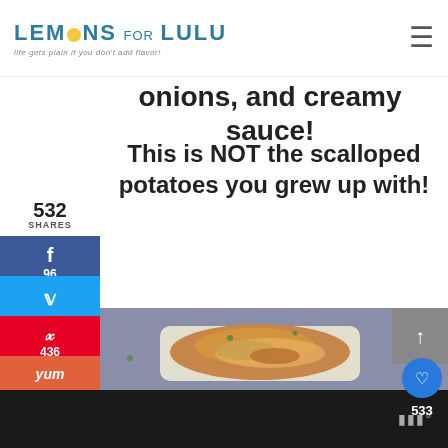LEMONS FOR LULU - life gets plain if you don't add flavor!
onions, and creamy sauce! This is NOT the scalloped potatoes you grew up with!
[Figure (photo): Photo of scalloped potatoes with cheese in a white baking dish, garnished with fresh herbs, on a gray linen background]
532 SHARES
96 (Facebook shares)
436 (Pinterest shares)
533 (likes)